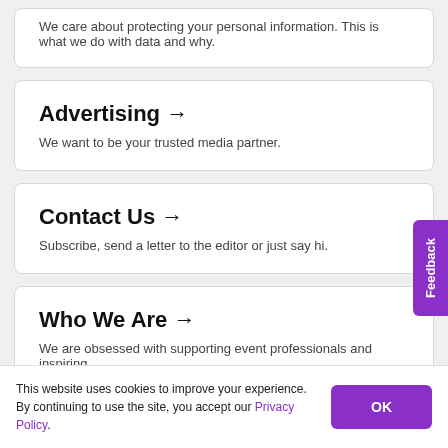We care about protecting your personal information. This is what we do with data and why.
Advertising →
We want to be your trusted media partner.
Contact Us →
Subscribe, send a letter to the editor or just say hi.
Who We Are →
We are obsessed with supporting event professionals and inspiring brilliant experiences.
This website uses cookies to improve your experience. By continuing to use the site, you accept our Privacy Policy.